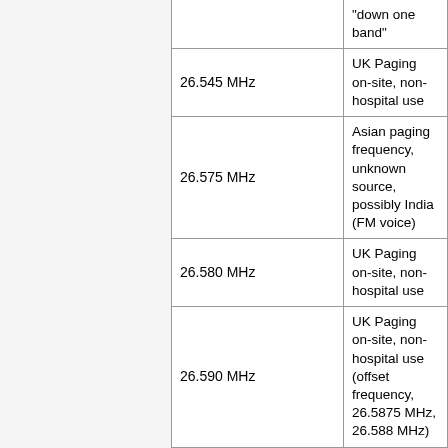| Frequency | Description |
| --- | --- |
|  | "down one band" |
| 26.545 MHz | UK Paging on-site, non-hospital use |
| 26.575 MHz | Asian paging frequency, unknown source, possibly India (FM voice) |
| 26.580 MHz | UK Paging on-site, non-hospital use |
| 26.590 MHz | UK Paging on-site, non-hospital use (offset frequency, 26.5875 MHz, 26.588 MHz) |
| 26.595 MHz | Channel 7A 27.045 MHz "down one band" |
| 26.600 MHz | Paging, heard in Europe, allocated in Holland (see 26.5 MHz above) |
| 26.605 MHz | Pager, unknown origin, heard on European SDRs during band openings, possible offset for 26.6 MHz |
|  | UK Paging on-site, non-hospital use |